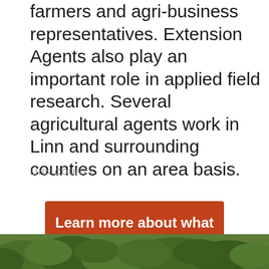farmers and agri-business representatives. Extension Agents also play an important role in applied field research. Several agricultural agents work in Linn and surrounding counties on an area basis.
LINN COUNTY
Learn more about what we do
[Figure (photo): Aerial or landscape photo of dense green foliage/trees]